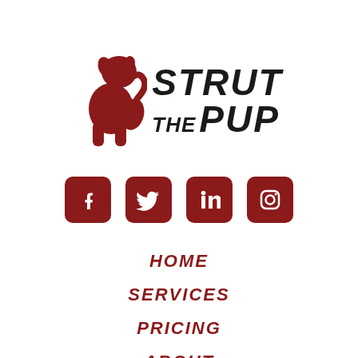[Figure (logo): Strut The Pup logo with dark red dog silhouette and bold italic text reading STRUT THE PUP]
[Figure (infographic): Four dark red rounded square social media icons: Facebook, Twitter, LinkedIn, Instagram]
HOME
SERVICES
PRICING
ABOUT